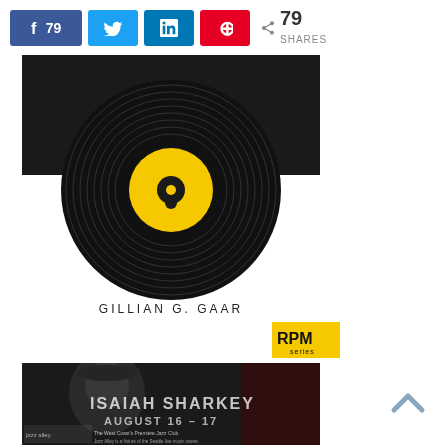[Figure (infographic): Social media share buttons: Facebook (79), Twitter, LinkedIn, Pinterest, and share count showing 79 SHARES]
[Figure (illustration): Vinyl record illustration with black background, concentric grooves in white/gray, yellow center label with small dark icon. Below the record: author name GILLIAN G. GAAR in spaced caps. RPM Series badge in yellow/black at right.]
GILLIAN G. GAAR
[Figure (photo): Black and white photo of Isaiah Sharkey performing, overlaid with text: ISAIAH SHARKEY, AUGUST 16-17, Jazz Alley - The West Coast's Premiere Jazz Club. Jazz Alley is a fixture of the Seattle live music scene, family owned and operated since 1979.]